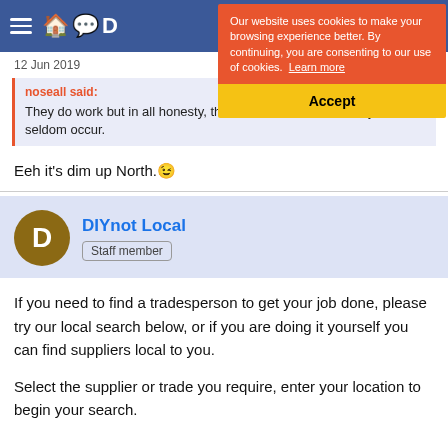DIYnot website navigation bar with hamburger menu and icons
[Figure (screenshot): Cookie consent banner overlay with orange background reading 'Our website uses cookies to make your browsing experience better. By continuing, you are consenting to our use of cookies. Learn more' and a yellow Accept button]
12 Jun 2019
noseall said:
They do work but in all honesty, the conditions for which they thrive, seldom occur.
Eeh it's dim up North. 😉
DIYnot Local
Staff member
If you need to find a tradesperson to get your job done, please try our local search below, or if you are doing it yourself you can find suppliers local to you.
Select the supplier or trade you require, enter your location to begin your search.